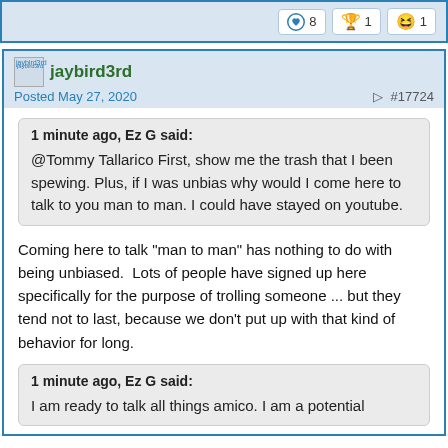Reaction counts: heart 8, trophy 1, laugh 1
jaybird3rd
Posted May 27, 2020   #17724
1 minute ago, Ez G said:
@Tommy Tallarico First, show me the trash that I been spewing. Plus, if I was unbias why would I come here to talk to you man to man. I could have stayed on youtube.
Coming here to talk "man to man" has nothing to do with being unbiased.  Lots of people have signed up here specifically for the purpose of trolling someone ... but they tend not to last, because we don't put up with that kind of behavior for long.
1 minute ago, Ez G said:
I am ready to talk all things amico. I am a potential